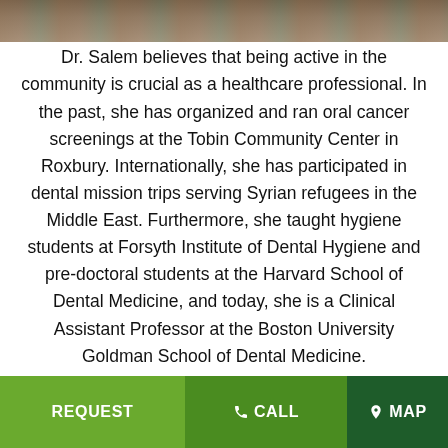[Figure (photo): Partial photo strip at top of page showing people, cropped]
Dr. Salem believes that being active in the community is crucial as a healthcare professional. In the past, she has organized and ran oral cancer screenings at the Tobin Community Center in Roxbury. Internationally, she has participated in dental mission trips serving Syrian refugees in the Middle East. Furthermore, she taught hygiene students at Forsyth Institute of Dental Hygiene and pre-doctoral students at the Harvard School of Dental Medicine, and today, she is a Clinical Assistant Professor at the Boston University Goldman School of Dental Medicine.
REQUEST   CALL   MAP